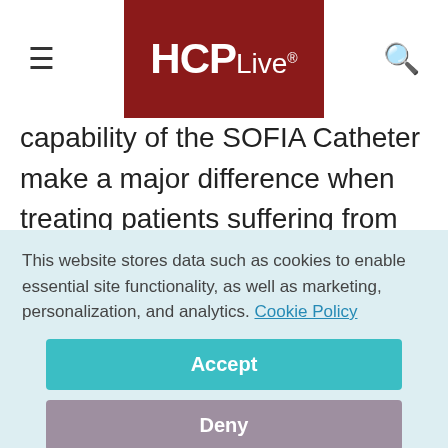HCPLive
capability of the SOFIA Catheter make a major difference when treating patients suffering from an ischemic stroke. The SOFIA Catheter makes my practice less challenging, reducing navigation time and providing effective clot extraction," said Markus Möhlenbruch, MD, Section Chief of Interventional Neuroradiology
This website stores data such as cookies to enable essential site functionality, as well as marketing, personalization, and analytics. Cookie Policy